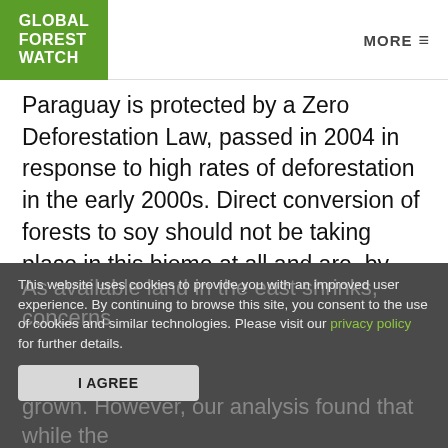GLOBAL FOREST WATCH | MORE ≡
Paraguay is protected by a Zero Deforestation Law, passed in 2004 in response to high rates of deforestation in the early 2000s. Direct conversion of forests to soy should not be taking place in this biome at all and are, by definition, illegal.
As available land in the east shrinks, concerns
This website uses cookies to provide you with an improved user experience. By continuing to browse this site, you consent to the use of cookies and similar technologies. Please visit our privacy policy for further details.
grown. However, our analysis found that while the area of planted soy in western Paraguay has increased over the last 20 years, overall soy